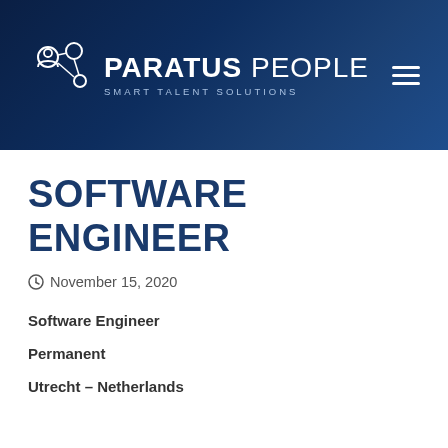PARATUS PEOPLE — SMART TALENT SOLUTIONS
SOFTWARE ENGINEER
November 15, 2020
Software Engineer
Permanent
Utrecht – Netherlands